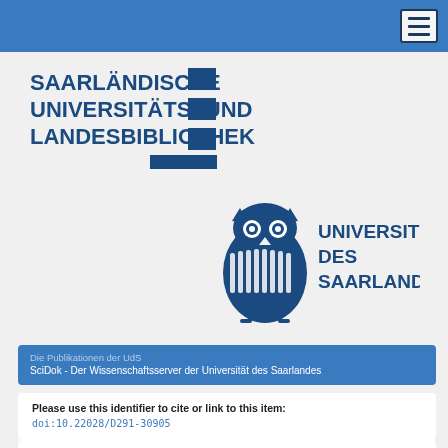Navigation bar with hamburger menu
[Figure (logo): Saarländische Universitäts- und Landesbibliothek (SULB) logo with dark blue bold text and geometric library symbol]
[Figure (logo): Universität des Saarlandes logo with owl emblem and bold dark blue text]
Die Publikationen der UdS
SciDok - Der Wissenschaftsserver der Universität des Saarlandes
Please use this identifier to cite or link to this item:
doi:10.22028/D291-30905